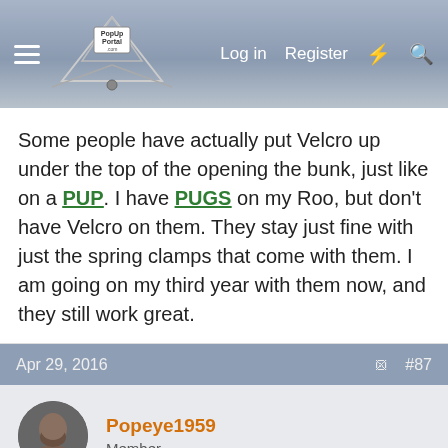PopUpPortal.com — Log in | Register
Some people have actually put Velcro up under the top of the opening the bunk, just like on a PUP. I have PUGS on my Roo, but don't have Velcro on them. They stay just fine with just the spring clamps that come with them. I am going on my third year with them now, and they still work great.
Apr 29, 2016  #87
Popeye1959
Member
Thank you